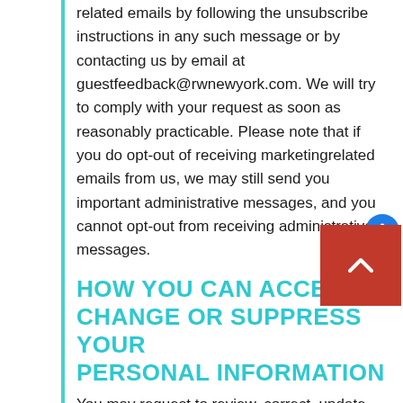related emails by following the unsubscribe instructions in any such message or by contacting us by email at guestfeedback@rwnewyork.com. We will try to comply with your request as soon as reasonably practicable. Please note that if you do opt-out of receiving marketingrelated emails from us, we may still send you important administrative messages, and you cannot opt-out from receiving administrative messages.
HOW YOU CAN ACCESS, CHANGE OR SUPPRESS YOUR PERSONAL INFORMATION
You may request to review, correct, update,